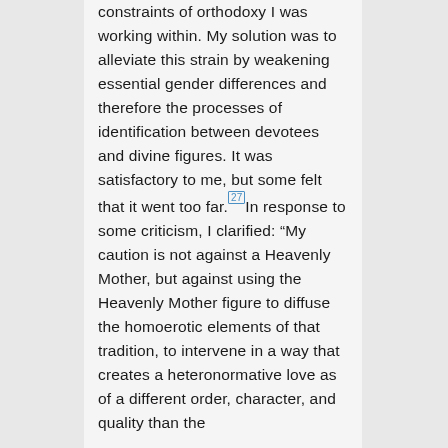constraints of orthodoxy I was working within. My solution was to alleviate this strain by weakening essential gender differences and therefore the processes of identification between devotees and divine figures. It was satisfactory to me, but some felt that it went too far.[27]In response to some criticism, I clarified: “My caution is not against a Heavenly Mother, but against using the Heavenly Mother figure to diffuse the homoerotic elements of that tradition, to intervene in a way that creates a heteronormative love as of a different order, character, and quality than the